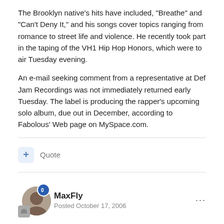The Brooklyn native's hits have included, "Breathe" and "Can't Deny It," and his songs cover topics ranging from romance to street life and violence. He recently took part in the taping of the VH1 Hip Hop Honors, which were to air Tuesday evening.
An e-mail seeking comment from a representative at Def Jam Recordings was not immediately returned early Tuesday. The label is producing the rapper's upcoming solo album, due out in December, according to Fabolous' Web page on MySpace.com.
Quote
MaxFly
Posted October 17, 2006
:paperbag: